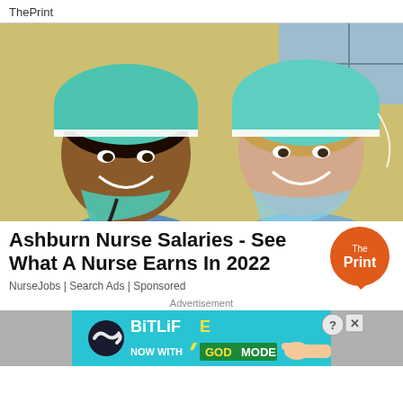ThePrint
[Figure (photo): Two female nurses in scrubs and teal surgical caps smiling, photographed in a medical setting]
Ashburn Nurse Salaries - See What A Nurse Earns In 2022
[Figure (logo): ThePrint circular orange badge logo]
NurseJobs | Search Ads | Sponsored
Advertisement
[Figure (screenshot): BitLife advertisement banner - NOW WITH GOD MODE in teal, with hand pointing finger graphic and question mark/X buttons]